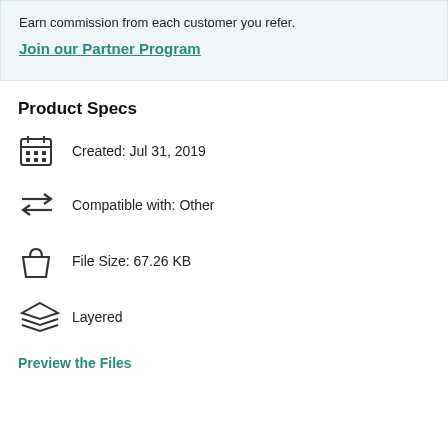Earn commission from each customer you refer.
Join our Partner Program
Product Specs
Created: Jul 31, 2019
Compatible with: Other
File Size: 67.26 KB
Layered
Preview the Files